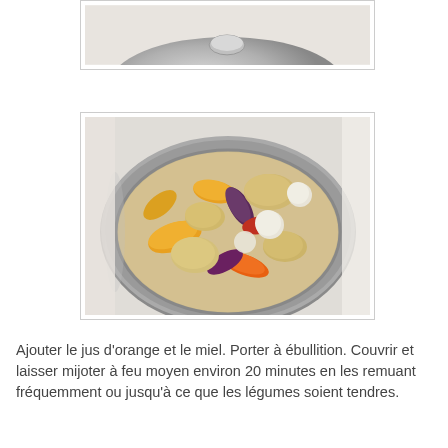[Figure (photo): Partial view of a stainless steel pot lid on a stovetop, top portion cropped]
[Figure (photo): Top-down view of a stainless steel pot on a stovetop containing mixed vegetables including colorful carrots (orange, red, purple), potatoes, and pearl onions in liquid]
Ajouter le jus d'orange et le miel. Porter à ébullition. Couvrir et laisser mijoter à feu moyen environ 20 minutes en les remuant fréquemment ou jusqu'à ce que les légumes soient tendres.